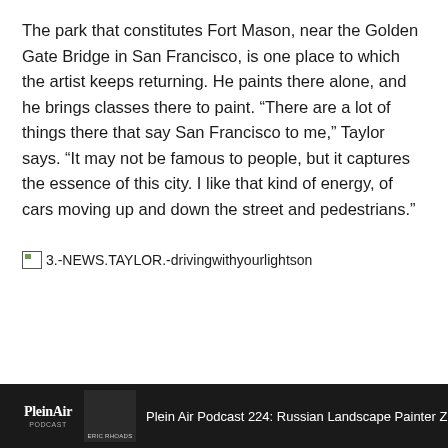The park that constitutes Fort Mason, near the Golden Gate Bridge in San Francisco, is one place to which the artist keeps returning. He paints there alone, and he brings classes there to paint. “There are a lot of things there that say San Francisco to me,” Taylor says. “It may not be famous to people, but it captures the essence of this city. I like that kind of energy, of cars moving up and down the street and pedestrians.”
[Figure (other): Broken image placeholder with alt text: 3.-NEWS.TAYLOR.-drivingwithyourlightson]
Plein Air Podcast 224: Russian Landscape Painter Zufar Bikbo